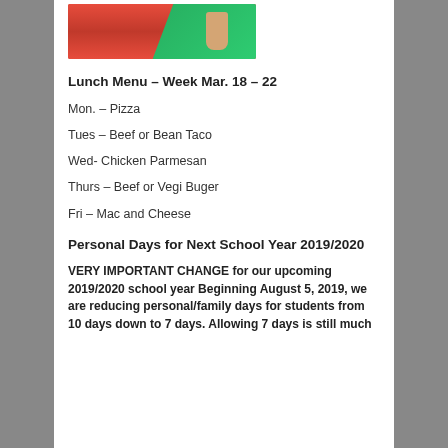[Figure (photo): Photo of colorful lunch trays (red and green) with a hand, school cafeteria setting]
Lunch Menu – Week Mar. 18 – 22
Mon. – Pizza
Tues – Beef or Bean Taco
Wed- Chicken Parmesan
Thurs – Beef or Vegi Buger
Fri – Mac and Cheese
Personal Days for Next School Year 2019/2020
VERY IMPORTANT CHANGE for our upcoming 2019/2020 school year Beginning August 5, 2019, we are reducing personal/family days for students from 10 days down to 7 days. Allowing 7 days is still much